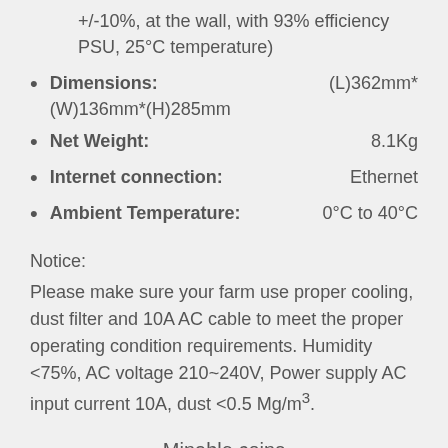+/-10%, at the wall, with 93% efficiency PSU, 25°C temperature)
Dimensions: (L)362mm*(W)136mm*(H)285mm
Net Weight: 8.1Kg
Internet connection: Ethernet
Ambient Temperature: 0°C to 40°C
Notice:
Please make sure your farm use proper cooling, dust filter and 10A AC cable to meet the proper operating condition requirements. Humidity <75%, AC voltage 210~240V, Power supply AC input current 10A, dust <0.5 Mg/m³.
Minable coins